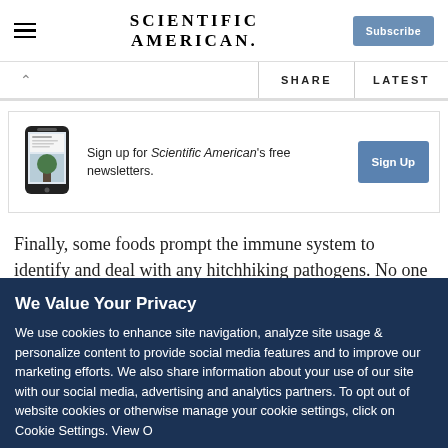SCIENTIFIC AMERICAN
Sign up for Scientific American's free newsletters.
Finally, some foods prompt the immune system to identify and deal with any hitchhiking pathogens. No one has seriously evaluated just how many calories this process involves, but it is
We Value Your Privacy
We use cookies to enhance site navigation, analyze site usage & personalize content to provide social media features and to improve our marketing efforts. We also share information about your use of our site with our social media, advertising and analytics partners. To opt out of website cookies or otherwise manage your cookie settings, click on Cookie Settings. View O